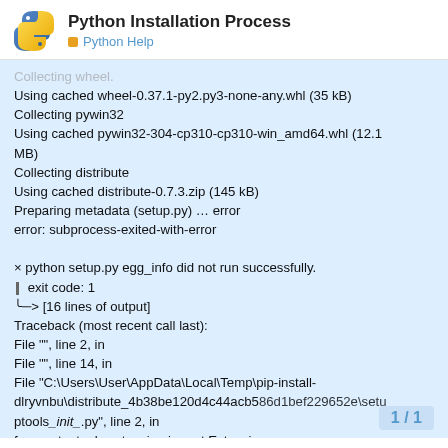Python Installation Process
Python Help
Collecting wheel.
Using cached wheel-0.37.1-py2.py3-none-any.whl (35 kB)
Collecting pywin32
Using cached pywin32-304-cp310-cp310-win_amd64.whl (12.1 MB)
Collecting distribute
Using cached distribute-0.7.3.zip (145 kB)
Preparing metadata (setup.py) … error
error: subprocess-exited-with-error

× python setup.py egg_info did not run successfully.
│  exit code: 1
╰─> [16 lines of output]
Traceback (most recent call last):
File "", line 2, in
File "", line 14, in
File "C:\Users\User\AppData\Local\Temp\pip-install-dlryvnbu\distribute_4b38be120d4c44acb586d1bef229652e\setuptools_init_.py", line 2, in
from setuptools.extension import Extensio